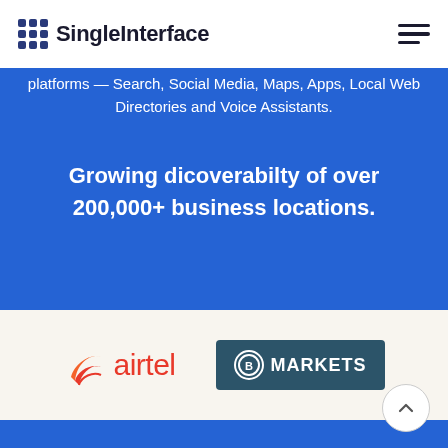SingleInterface
platforms — Search, Social Media, Maps, Apps, Local Web Directories and Voice Assistants.
Growing dicoverabilty of over 200,000+ business locations.
[Figure (logo): Airtel logo — red swish icon with 'airtel' text in red]
[Figure (logo): IG Markets logo — dark teal rectangle with circled B icon and 'MARKETS' text in white]